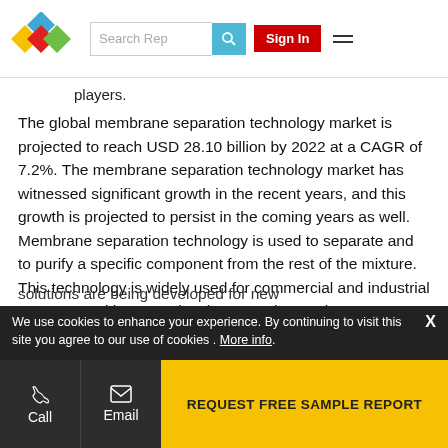Search Rep | Sign In
players.
The global membrane separation technology market is projected to reach USD 28.10 billion by 2022 at a CAGR of 7.2%. The membrane separation technology market has witnessed significant growth in the recent years, and this growth is projected to persist in the coming years as well. Membrane separation technology is used to separate and to purify a specific component from the rest of the mixture. This technology is widely used for commercial and industrial purposes. With recent developments in membrane separation technology market and increasing demand for reduction of energy consumption in the
solutions are being developed for new
We use cookies to enhance your experience. By continuing to visit this site you agree to our use of cookies . More info.
Call | Email | REQUEST FREE SAMPLE REPORT